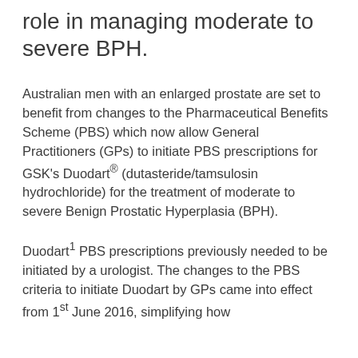role in managing moderate to severe BPH.
Australian men with an enlarged prostate are set to benefit from changes to the Pharmaceutical Benefits Scheme (PBS) which now allow General Practitioners (GPs) to initiate PBS prescriptions for GSK's Duodart® (dutasteride/tamsulosin hydrochloride) for the treatment of moderate to severe Benign Prostatic Hyperplasia (BPH).
Duodart1 PBS prescriptions previously needed to be initiated by a urologist. The changes to the PBS criteria to initiate Duodart by GPs came into effect from 1st June 2016, simplifying how